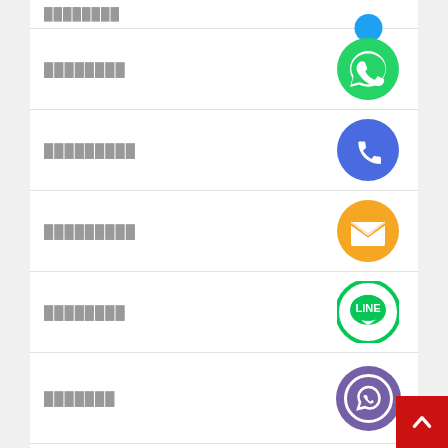████████
[Figure (illustration): WhatsApp green circle icon with white speech bubble and phone receiver]
█████████
[Figure (illustration): Phone/call blue circle icon with white phone receiver]
█████████
[Figure (illustration): Email orange circle icon with white envelope]
████████
[Figure (illustration): LINE green circle icon with white LINE logo and speech bubble]
███████
[Figure (illustration): Viber purple circle icon with white phone/viber logo]
██████
█████████
[Figure (illustration): Green circle with white X/close icon]